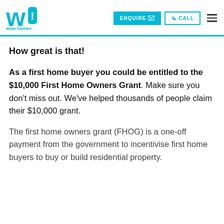wow homes — ENQUIRE | CALL
How great is that!
As a first home buyer you could be entitled to the $10,000 First Home Owners Grant. Make sure you don't miss out. We've helped thousands of people claim their $10,000 grant.
The first home owners grant (FHOG) is a one-off payment from the government to incentivise first home buyers to buy or build residential property.